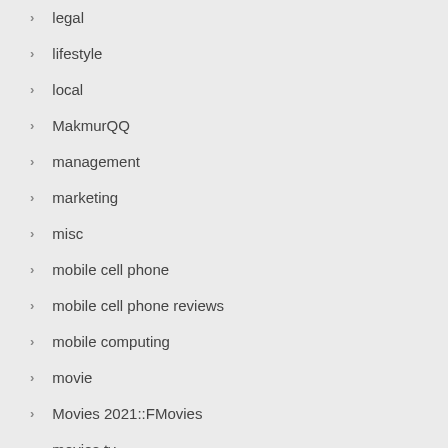legal
lifestyle
local
MakmurQQ
management
marketing
misc
mobile cell phone
mobile cell phone reviews
mobile computing
movie
Movies 2021::FMovies
movies tv